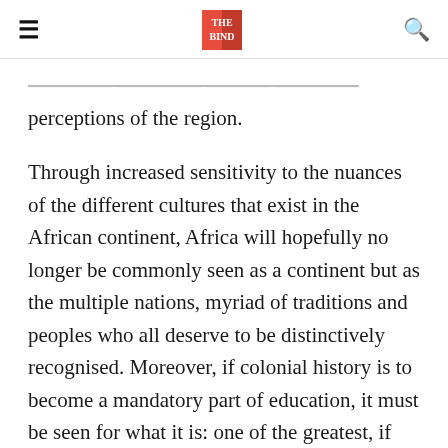≡  [THE BIND logo]  🔍
...become better informed and positive perceptions of the region.
Through increased sensitivity to the nuances of the different cultures that exist in the African continent, Africa will hopefully no longer be commonly seen as a continent but as the multiple nations, myriad of traditions and peoples who all deserve to be distinctively recognised. Moreover, if colonial history is to become a mandatory part of education, it must be seen for what it is: one of the greatest, if not greatest atrocities in human history. To quote